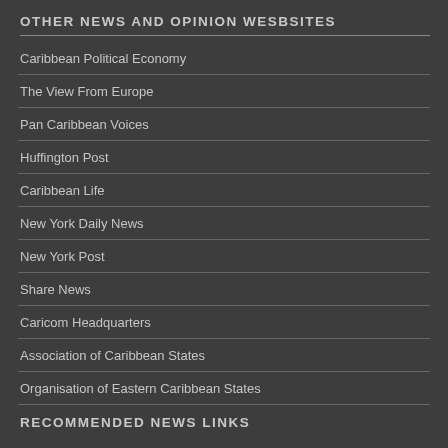OTHER NEWS AND OPINION WESBSITES
Caribbean Political Economy
The View From Europe
Pan Caribbean Voices
Huffington Post
Caribbean Life
New York Daily News
New York Post
Share News
Caricom Headquarters
Association of Caribbean States
Organisation of Eastern Caribbean States
RECOMMENDED NEWS LINKS